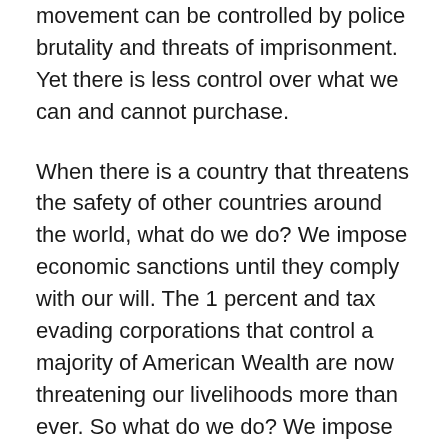movement can be controlled by police brutality and threats of imprisonment. Yet there is less control over what we can and cannot purchase.
When there is a country that threatens the safety of other countries around the world, what do we do? We impose economic sanctions until they comply with our will. The 1 percent and tax evading corporations that control a majority of American Wealth are now threatening our livelihoods more than ever. So what do we do? We impose sanctions.
Not all corporations are bad. In fact, there are many good corporations out there that pay their taxes and give people jobs. Yet there are also many bad corporations that sponge off of American resources (roads, educated workers, protection via police, etc.) and yet these corporations refuse to pay taxes themselves. Those